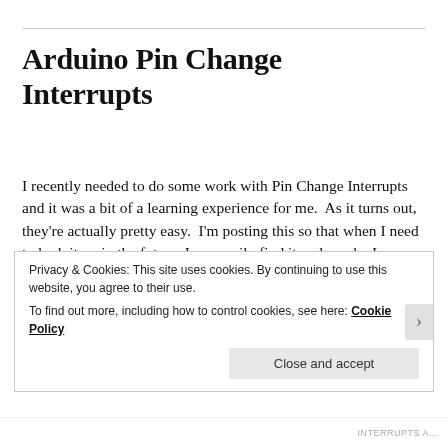Arduino Pin Change Interrupts
I recently needed to do some work with Pin Change Interrupts and it was a bit of a learning experience for me.  As it turns out, they're actually pretty easy.  I'm posting this so that when I need to look it up in the future, I can easily find it and maybe I can help somebody else out too. Continue reading
Privacy & Cookies: This site uses cookies. By continuing to use this website, you agree to their use.
To find out more, including how to control cookies, see here: Cookie Policy
Close and accept